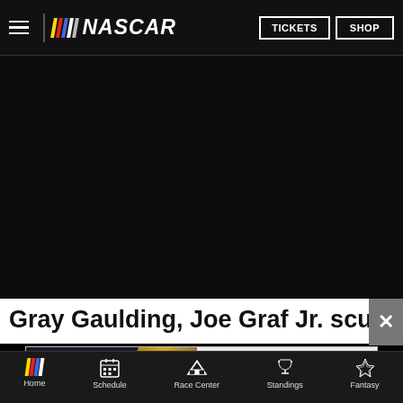NASCAR — TICKETS | SHOP
[Figure (screenshot): Large dark hero image area, mostly black/dark, appears to show a NASCAR race scene but image is not loaded/visible]
Gray Gaulding, Joe Graf Jr. scuffle aft
[Figure (other): NASCAR advertisement banner: NASCAR logo with BUY TICKETS button, race car image, text YOU'VE GOTTA BE THERE!]
Home | Schedule | Race Center | Standings | Fantasy